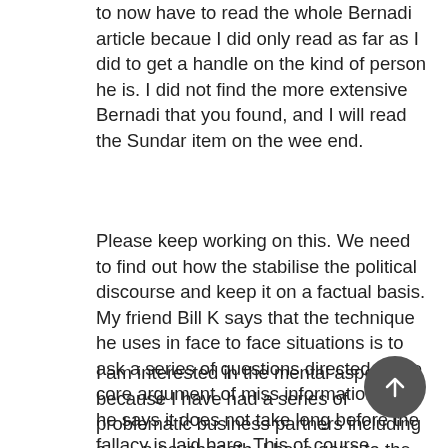to now have to read the whole Bernadi article becaue I did only read as far as I did to get a handle on the kind of person he is. I did not find the more extensive Bernadi that you found, and I will read the Sundar item on the wee end.
Please keep working on this. We need to find out how the stabilise the political discourse and keep it on a factual basis. My friend Bill K says that the technique he uses in face to face situations is to ask a series of questions directed at the core argument of miss information, and he says it does not take long before the fallacy is laid bare. This of course requires that the other party remains engaged, harder to achieve in social media but I imagine that the technique should work.
I am interested in the mental aspect because I have had a series of problematic business partners including a [obscured] psychopath. I have gone to the extent of having se[obscured] sessions with a psychologist in order to be better able to